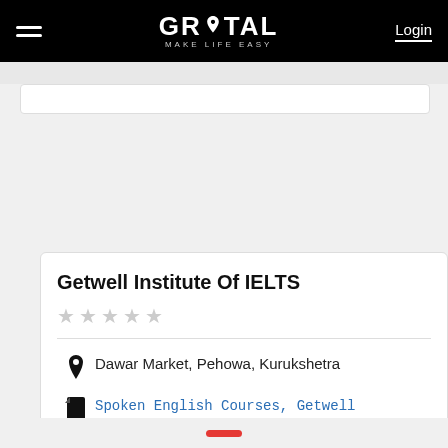GROTAL - MAKE LIFE EASY | Login
Getwell Institute Of IELTS
Dawar Market, Pehowa, Kurukshetra
Spoken English Courses, Getwell Institute Of IELTS, OET Preparation Courses, OET Courses, OET Nursing Courses, OET Training more...
Write Query/Review
Call Now